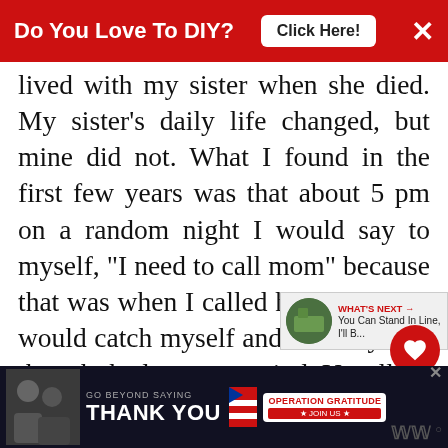Do You Love To DIY? Click Here! ×
lived with my sister when she died. My sister's daily life changed, but mine did not. What I found in the first few years was that about 5 pm on a random night I would say to myself, "I need to call mom" because that was when I called her and then I would catch myself and ask why that thought had come to mind. Usually it was when something big was going on in my life and I knew she would want to know about it.

It's been 17 years and the thought to call her happens rarely, but it still
GO BEYOND SAYING THANK YOU — OPERATION GRATITUDE — JOIN US